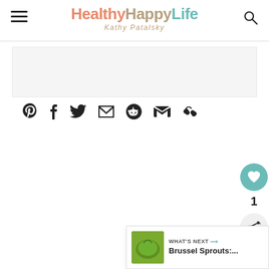HealthyHappyLife by Kathy Patalsky
[Figure (screenshot): Advertisement banner placeholder with light gray background]
[Figure (infographic): Social sharing icons row: Pinterest, Facebook, Twitter, Email, Reddit, Gmail, Link]
[Figure (infographic): Floating right sidebar with heart/like button (teal circle, count: 1) and share button]
[Figure (infographic): What's Next card showing brussel sprouts thumbnail image and text 'WHAT'S NEXT → Brussel Sprouts:...']